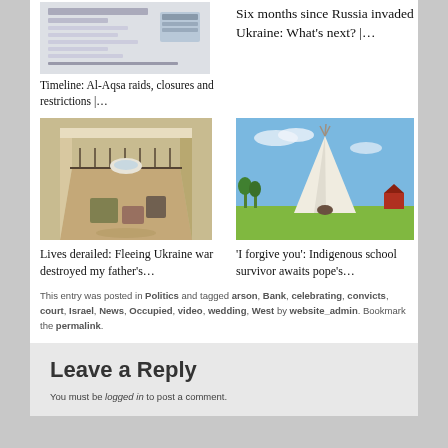[Figure (screenshot): Document screenshot thumbnail showing a timeline article]
Timeline: Al-Aqsa raids, closures and restrictions |…
Six months since Russia invaded Ukraine: What's next? |…
[Figure (illustration): Illustration of an interior room scene viewed from above]
[Figure (photo): Photo of a white teepee on a green field with blue sky]
Lives derailed: Fleeing Ukraine war destroyed my father's…
'I forgive you': Indigenous school survivor awaits pope's…
This entry was posted in Politics and tagged arson, Bank, celebrating, convicts, court, Israel, News, Occupied, video, wedding, West by website_admin. Bookmark the permalink.
Leave a Reply
You must be logged in to post a comment.